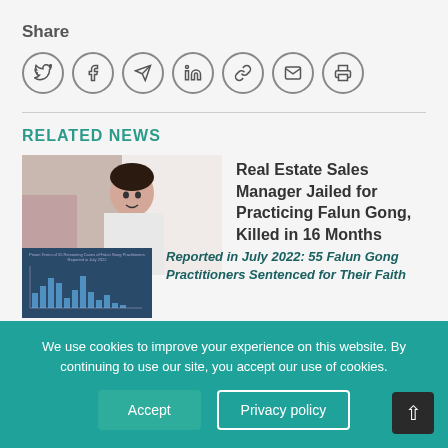Share
[Figure (illustration): Social sharing icons in circles: Twitter, Facebook, Telegram, LinkedIn, Link, Email, Print]
[Figure (photo): Photo of a man smiling, related news thumbnail]
Real Estate Sales Manager Jailed for Practicing Falun Gong, Killed in 16 Months
[Figure (bar-chart): Bar chart titled Prison Terms of 55 Remaining Cases of Falun Gong Practitioners Reported in July 2022]
Reported in July 2022: 55 Falun Gong Practitioners Sentenced for Their Faith
We use cookies to improve your experience on this website. By continuing to use our site, you accept our use of cookies.
Accept
Privacy policy